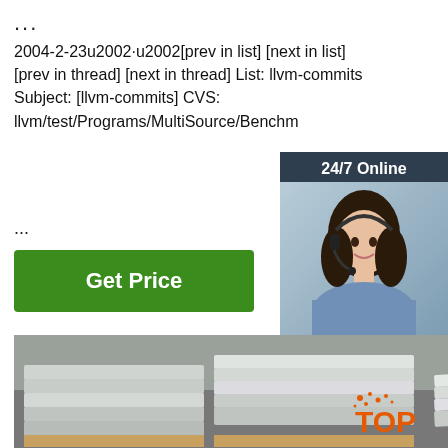...
2004-2-23u2002·u2002[prev in list] [next in list] [prev in thread] [next in thread] List: llvm-commits Subject: [llvm-commits] CVS: llvm/test/Programs/MultiSource/Benchm
...
[Figure (infographic): Customer service chat widget showing '24/7 Online' heading, a female agent with headset, 'Click here for free chat!' text, and an orange 'QUOTATION' button]
[Figure (photo): Stacked metal sheets (stainless steel plates) in a warehouse/factory setting]
[Figure (logo): Orange 'TOP' logo watermark with dots in bottom right corner]